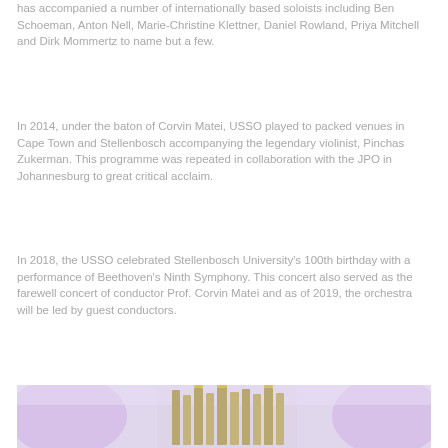has accompanied a number of internationally based soloists including Ben Schoeman, Anton Nell, Marie-Christine Klettner, Daniel Rowland, Priya Mitchell and Dirk Mommertz to name but a few.
In 2014, under the baton of Corvin Matei, USSO played to packed venues in Cape Town and Stellenbosch accompanying the legendary violinist, Pinchas Zukerman. This programme was repeated in collaboration with the JPO in Johannesburg to great critical acclaim.
In 2018, the USSO celebrated Stellenbosch University's 100th birthday with a performance of Beethoven's Ninth Symphony. This concert also served as the farewell concert of conductor Prof. Corvin Matei and as of 2019, the orchestra will be led by guest conductors.
[Figure (photo): Interior photo of a concert hall or chapel showing organ pipes and purple/violet lighting]